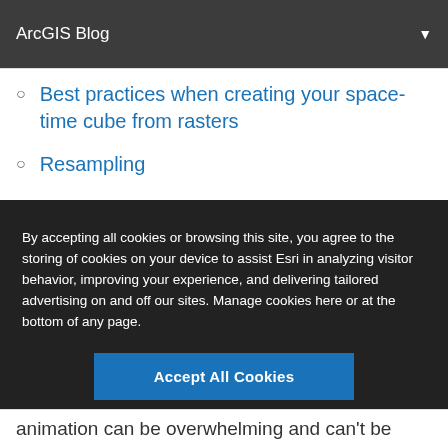ArcGIS Blog
Best practices when creating your space-time cube from rasters
Resampling
By accepting all cookies or browsing this site, you agree to the storing of cookies on your device to assist Esri in analyzing visitor behavior, improving your experience, and delivering tailored advertising on and off our sites. Manage cookies here or at the bottom of any page.
Accept All Cookies
Cookies Settings
animation can be overwhelming and can't be